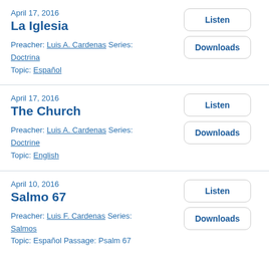April 17, 2016
La Iglesia
Preacher: Luis A. Cardenas Series: Doctrina
Topic: Español
April 17, 2016
The Church
Preacher: Luis A. Cardenas Series: Doctrine
Topic: English
April 10, 2016
Salmo 67
Preacher: Luis F. Cardenas Series: Salmos
Topic: Español Passage: Psalm 67